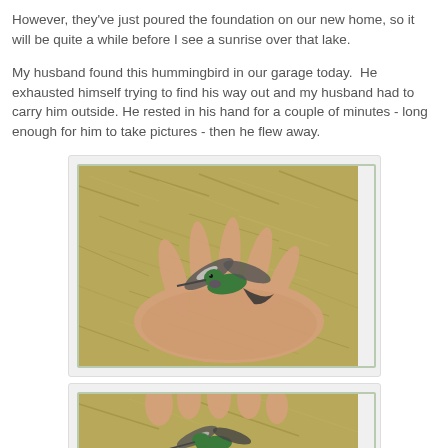However, they've just poured the foundation on our new home, so it will be quite a while before I see a sunrise over that lake.
My husband found this hummingbird in our garage today.  He exhausted himself trying to find his way out and my husband had to carry him outside. He rested in his hand for a couple of minutes - long enough for him to take pictures - then he flew away.
[Figure (photo): A hummingbird resting on an open hand, with straw/hay visible in the background. The bird has green and dark feathers with spread wings.]
[Figure (photo): A second photo of the hummingbird on a hand, partially visible at the bottom of the page.]